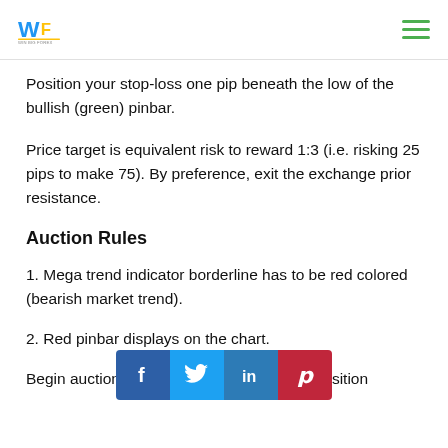WF logo and navigation menu
Position your stop-loss one pip beneath the low of the bullish (green) pinbar.
Price target is equivalent risk to reward 1:3 (i.e. risking 25 pips to make 75). By preference, exit the exchange prior resistance.
Auction Rules
1. Mega trend indicator borderline has to be red colored (bearish market trend).
2. Red pinbar displays on the chart.
Begin auction at the open of the next bar. Position
[Figure (infographic): Social sharing bar with Facebook, Twitter, LinkedIn, and Pinterest buttons]